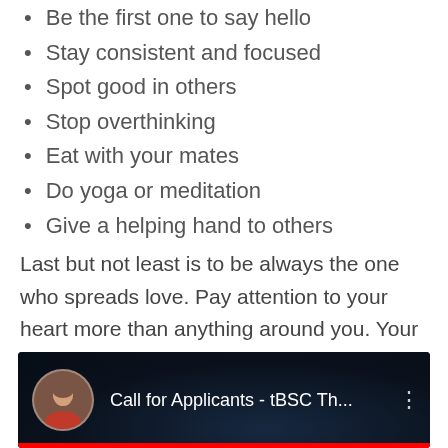Be the first one to say hello
Stay consistent and focused
Spot good in others
Stop overthinking
Eat with your mates
Do yoga or meditation
Give a helping hand to others
Last but not least is to be always the one who spreads love. Pay attention to your heart more than anything around you. Your heart is a valuable diamond, so treasure it, my social outcast friend!!
[Figure (screenshot): YouTube video thumbnail showing a woman in a red top with the title 'Call for Applicants - tBSC Th...' on a dark background with three-dot menu icon]